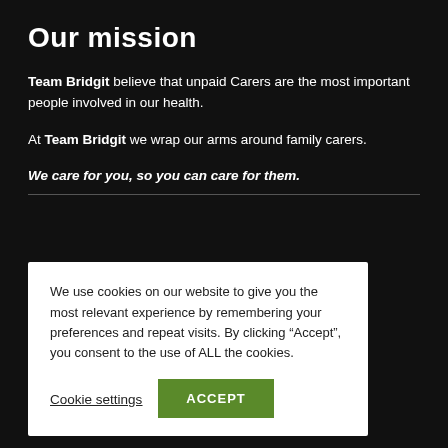Our mission
Team Bridgit believe that unpaid Carers are the most important people involved in our health.
At Team Bridgit we wrap our arms around family carers.
We care for you, so you can care for them.
We use cookies on our website to give you the most relevant experience by remembering your preferences and repeat visits. By clicking “Accept”, you consent to the use of ALL the cookies.
Cookie settings
ACCEPT